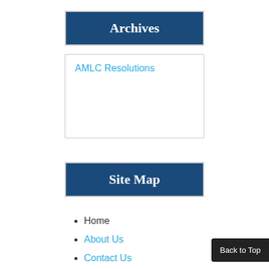Archives
AMLC Resolutions
Site Map
Home
About Us
Contact Us
News & Announcements